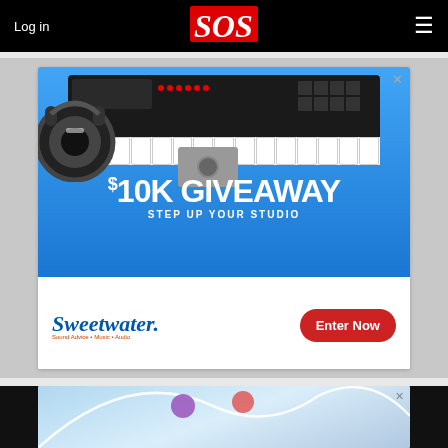Log in | SOS | ≡
[Figure (illustration): Sweetwater $10K Giveaway advertisement featuring a Nektar MIDI keyboard controller, headphones, audio interface, with text '$10K GIVEAWAY STEP UP YOUR STUDIO' and Sweetwater logo with 'Enter Now' button]
[Figure (illustration): Partially visible advertisement with light blue background showing curved white lines and two colored circular markers (purple and pink/red)]